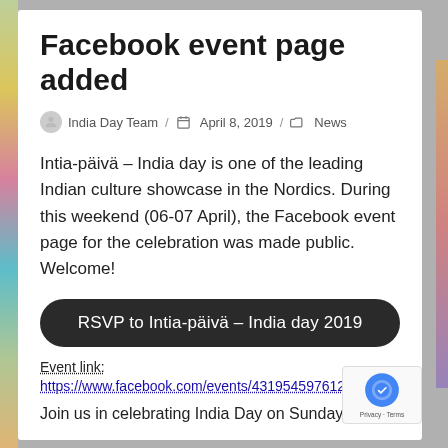Facebook event page added
India Day Team / April 8, 2019 / News
Intia-päivä – India day is one of the leading Indian culture showcase in the Nordics. During this weekend (06-07 April), the Facebook event page for the celebration was made public. Welcome!
RSVP to Intia-päivä – India day 2019
Event link:
https://www.facebook.com/events/431954597612513/
Join us in celebrating India Day on Sunday 18th of